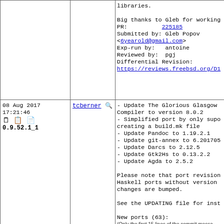libraries.

Big thanks to Gleb for working

PR: 225185
Submitted by: Gleb Popov <6yearold@gmail.com>
Exp-run by: antoine
Reviewed by: pgj
Differential Revision:
https://reviews.freebsd.org/D1
08 Aug 2017 17:21:46
0.9.52.1_1
tcberner
- Update The Glorious Glasgow Compiler to version 8.0.2
- Simplified port by only supo creating a build.mk file
- Update Pandoc to 1.19.2.1
- Update git-annex to 6.201705
- Update Darcs to 2.12.5
- Update Gtk2Hs to 0.13.2.2
- Update Agda to 2.5.2

Please note that port revision Haskell ports without version changes are bumped.

See the UPDATING file for inst

New ports (63):

(Only the first 15 lines of the commit messa
(Only the first 15 lines of the commit messa